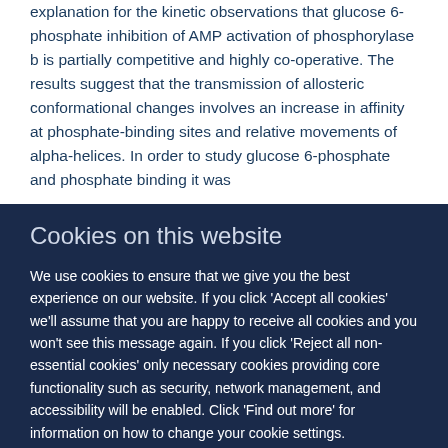explanation for the kinetic observations that glucose 6-phosphate inhibition of AMP activation of phosphorylase b is partially competitive and highly co-operative. The results suggest that the transmission of allosteric conformational changes involves an increase in affinity at phosphate-binding sites and relative movements of alpha-helices. In order to study glucose 6-phosphate and phosphate binding it was
Cookies on this website
We use cookies to ensure that we give you the best experience on our website. If you click 'Accept all cookies' we'll assume that you are happy to receive all cookies and you won't see this message again. If you click 'Reject all non-essential cookies' only necessary cookies providing core functionality such as security, network management, and accessibility will be enabled. Click 'Find out more' for information on how to change your cookie settings.
Accept all cookies
Reject all non-essential cookies